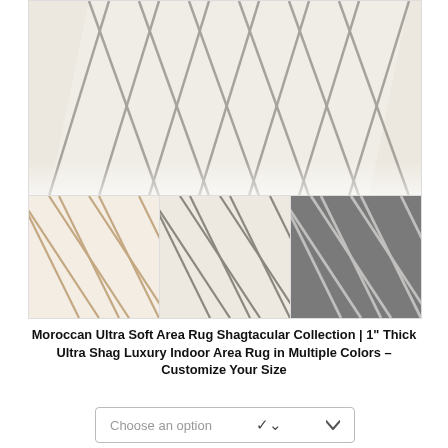[Figure (photo): Top partial view of a white/cream Moroccan trellis area rug with gray diamond lattice pattern, shown at an angle]
[Figure (photo): Three thumbnail swatches of the rug in different colorways: left cream with tan/beige lattice, center white/cream with gray lattice, right dark gray with light lattice]
Moroccan Ultra Soft Area Rug Shagtacular Collection | 1" Thick Ultra Shag Luxury Indoor Area Rug in Multiple Colors – Customize Your Size
[Figure (screenshot): Dropdown selector labeled 'Choose an option' with chevron arrow]
$21.34 - $33.58 / sq. ft.
[Figure (photo): Bottom product card showing a partial view of a taupe/beige solid shag rug]
[Figure (other): Circular mail/email icon button]